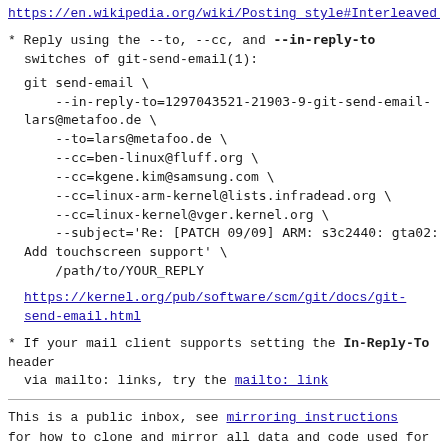https://en.wikipedia.org/wiki/Posting_style#Interleaved_s
* Reply using the --to, --cc, and --in-reply-to switches of git-send-email(1):

  git send-email \
    --in-reply-to=1297043521-21903-9-git-send-email-lars@metafoo.de \
    --to=lars@metafoo.de \
    --cc=ben-linux@fluff.org \
    --cc=kgene.kim@samsung.com \
    --cc=linux-arm-kernel@lists.infradead.org \
    --cc=linux-kernel@vger.kernel.org \
    --subject='Re: [PATCH 09/09] ARM: s3c2440: gta02: Add touchscreen support' \
    /path/to/YOUR_REPLY
https://kernel.org/pub/software/scm/git/docs/git-send-email.html
* If your mail client supports setting the In-Reply-To header
  via mailto: links, try the mailto: link
This is a public inbox, see mirroring instructions
for how to clone and mirror all data and code used for
this inbox;
as well as URLs for NNTP newsgroup(s).